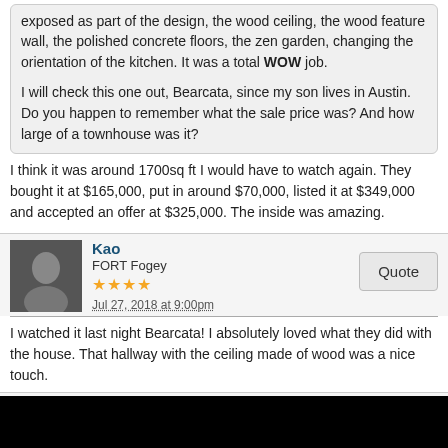exposed as part of the design, the wood ceiling, the wood feature wall, the polished concrete floors, the zen garden, changing the orientation of the kitchen. It was a total WOW job.
I will check this one out, Bearcata, since my son lives in Austin. Do you happen to remember what the sale price was? And how large of a townhouse was it?
I think it was around 1700sq ft I would have to watch again. They bought it at $165,000, put in around $70,000, listed it at $349,000 and accepted an offer at $325,000. The inside was amazing.
Kao
FORT Fogey
Jul 27, 2018 at 9:00pm
I watched it last night Bearcata! I absolutely loved what they did with the house. That hallway with the ceiling made of wood was a nice touch.
Eastcoastmom
FORT Superstar